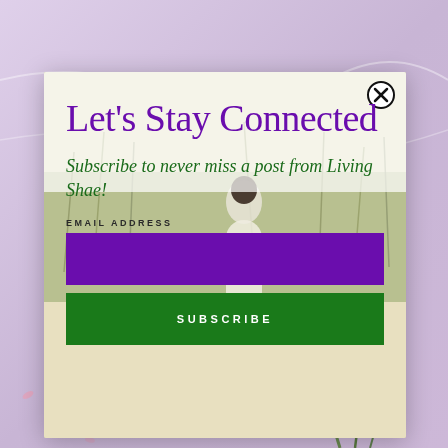[Figure (photo): Lavender/mauve marble textured background with flower stems visible at bottom and scattered petals]
[Figure (photo): Modal popup overlay on a beach/dune scene with tall sea grass. A woman in a white dress stands among the dunes.]
Let's Stay Connected
Subscribe to never miss a post from Living Shae!
EMAIL ADDRESS
SUBSCRIBE